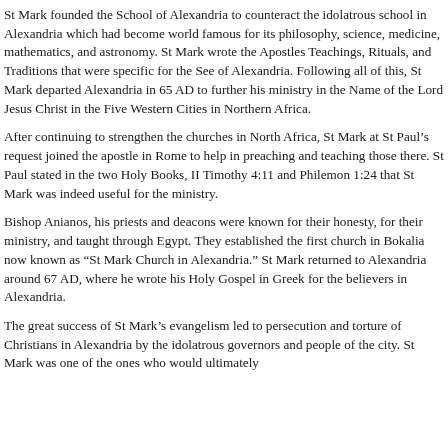St Mark founded the School of Alexandria to counteract the idolatrous school in Alexandria which had become world famous for its philosophy, science, medicine, mathematics, and astronomy. St Mark wrote the Apostles Teachings, Rituals, and Traditions that were specific for the See of Alexandria. Following all of this, St Mark departed Alexandria in 65 AD to further his ministry in the Name of the Lord Jesus Christ in the Five Western Cities in Northern Africa.
After continuing to strengthen the churches in North Africa, St Mark at St Paul’s request joined the apostle in Rome to help in preaching and teaching those there. St Paul stated in the two Holy Books, II Timothy 4:11 and Philemon 1:24 that St Mark was indeed useful for the ministry.
Bishop Anianos, his priests and deacons were known for their honesty, for their ministry, and taught through Egypt. They established the first church in Bokalia now known as “St Mark Church in Alexandria.” St Mark returned to Alexandria around 67 AD, where he wrote his Holy Gospel in Greek for the believers in Alexandria.
The great success of St Mark’s evangelism led to persecution and torture of Christians in Alexandria by the idolatrous governors and people of the city. St Mark was one of the ones who would ultimately...